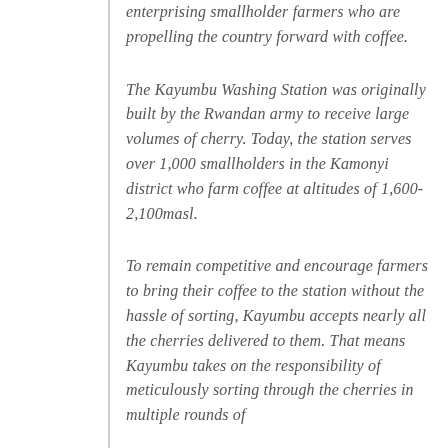enterprising smallholder farmers who are propelling the country forward with coffee.
The Kayumbu Washing Station was originally built by the Rwandan army to receive large volumes of cherry. Today, the station serves over 1,000 smallholders in the Kamonyi district who farm coffee at altitudes of 1,600-2,100masl.
To remain competitive and encourage farmers to bring their coffee to the station without the hassle of sorting, Kayumbu accepts nearly all the cherries delivered to them. That means Kayumbu takes on the responsibility of meticulously sorting through the cherries in multiple rounds of